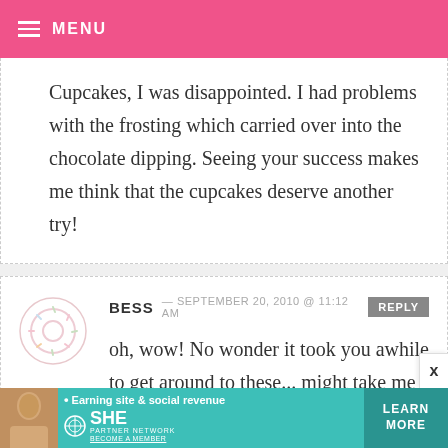MENU
Cupcakes, I was disappointed. I had problems with the frosting which carried over into the chocolate dipping. Seeing your success makes me think that the cupcakes deserve another try!
BESS — SEPTEMBER 20, 2010 @ 11:12 AM REPLY
oh, wow! No wonder it took you awhile to get around to these... might take me
[Figure (other): SHE Partner Network advertisement banner with woman photo, tagline 'Earning site & social revenue', and 'LEARN MORE' button]